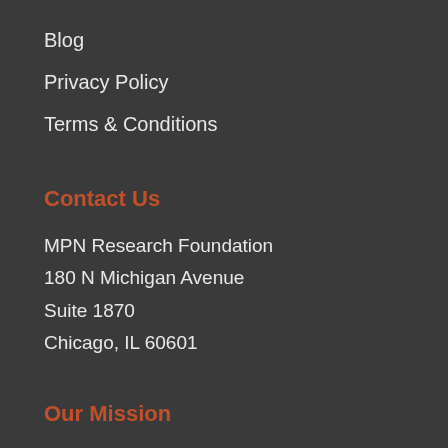Blog
Privacy Policy
Terms & Conditions
Contact Us
MPN Research Foundation
180 N Michigan Avenue
Suite 1870
Chicago, IL 60601
Our Mission
The MPN Research Foundation has a single goal: to stimulate original research in pursuit of new treatments — and eventually a cure — for polycythemia vera,essential thrombocythemia and myelofibrosis, known collectively as